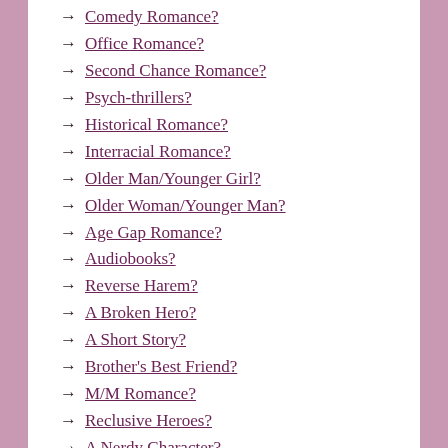Comedy Romance?
Office Romance?
Second Chance Romance?
Psych-thrillers?
Historical Romance?
Interracial Romance?
Older Man/Younger Girl?
Older Woman/Younger Man?
Age Gap Romance?
Audiobooks?
Reverse Harem?
A Broken Hero?
A Short Story?
Brother's Best Friend?
M/M Romance?
Reclusive Heroes?
A Nerdy Character?
Fantasy Romance?
Urban Fantasy?
Paranormal Romance?
Vampires?